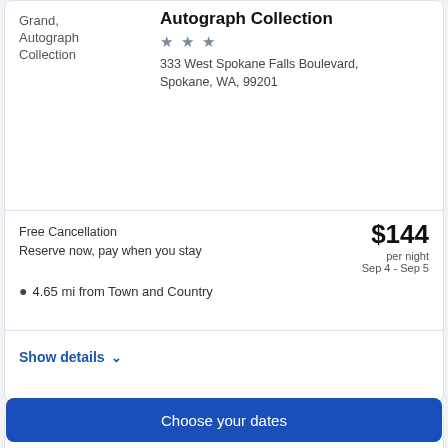Grand, Autograph Collection
Autograph Collection
333 West Spokane Falls Boulevard, Spokane, WA, 99201
Free Cancellation
Reserve now, pay when you stay
$144 per night Sep 4 - Sep 5
4.65 mi from Town and Country
Show details
SilverStone Inn & Suites Spokane Valley
2016 N Argonne Rd, Spokane Valley, WA, 99212
Choose your dates